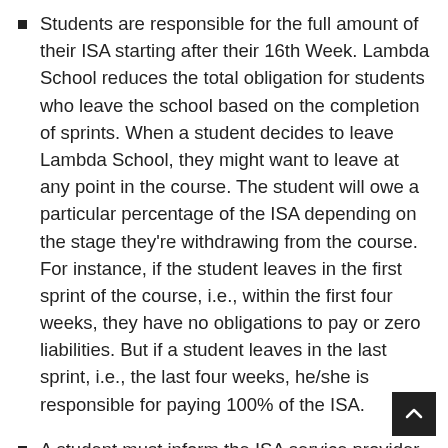Students are responsible for the full amount of their ISA starting after their 16th Week. Lambda School reduces the total obligation for students who leave the school based on the completion of sprints. When a student decides to leave Lambda School, they might want to leave at any point in the course. The student will owe a particular percentage of the ISA depending on the stage they're withdrawing from the course. For instance, if the student leaves in the first sprint of the course, i.e., within the first four weeks, they have no obligations to pay or zero liabilities. But if a student leaves in the last sprint, i.e., the last four weeks, he/she is responsible for paying 100% of the ISA.
A student must inform the ISA service provider about any changes in their career. Whether a student drops out of Lambda School or lands a job, he/she is responsible for providing credible documentation